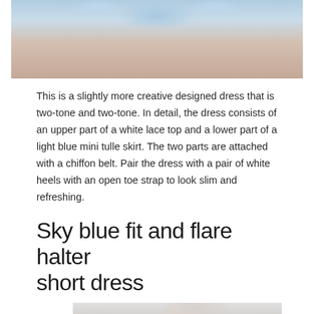[Figure (photo): Bottom portion of a light blue ruffled tulle skirt with bare legs visible, against a white background]
This is a slightly more creative designed dress that is two-tone and two-tone. In detail, the dress consists of an upper part of a white lace top and a lower part of a light blue mini tulle skirt. The two parts are attached with a chiffon belt. Pair the dress with a pair of white heels with an open toe strap to look slim and refreshing.
Sky blue fit and flare halter short dress
[Figure (photo): Woman wearing a sky blue lace halter short dress, posing with hand near chin against a light gray background]